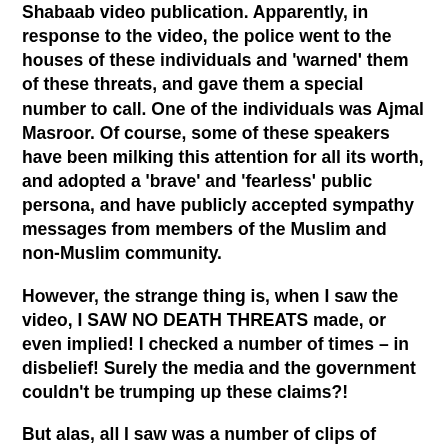Shabaab video publication. Apparently, in response to the video, the police went to the houses of these individuals and 'warned' them of these threats, and gave them a special number to call. One of the individuals was Ajmal Masroor. Of course, some of these speakers have been milking this attention for all its worth, and adopted a 'brave' and 'fearless' public persona, and have publicly accepted sympathy messages from members of the Muslim and non-Muslim community.
However, the strange thing is, when I saw the video, I SAW NO DEATH THREATS made, or even implied! I checked a number of times – in disbelief! Surely the media and the government couldn't be trumping up these claims?!
But alas, all I saw was a number of clips of Ajmal, along with some others, and some video and the...